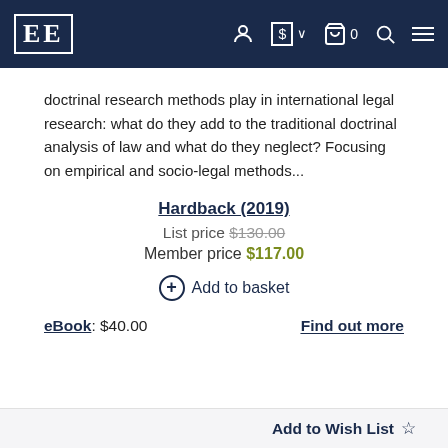EE [logo header with navigation icons]
doctrinal research methods play in international legal research: what do they add to the traditional doctrinal analysis of law and what do they neglect? Focusing on empirical and socio-legal methods...
Hardback (2019)
List price $130.00
Member price $117.00
⊕ Add to basket
eBook: $40.00   Find out more
Add to Wish List ☆